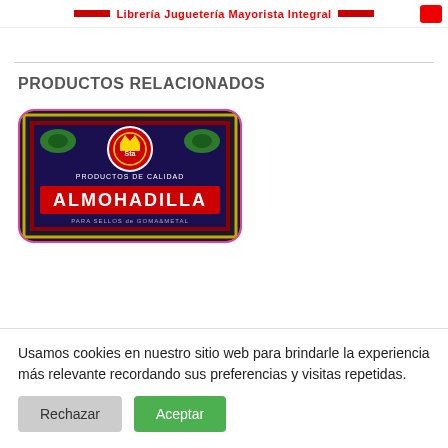Librería Juguetería Mayorista Integral
PRODUCTOS RELACIONADOS
[Figure (photo): Product box labeled ALMOHADILLA with red circular logo 'Sta' and text 'PRODUCTOS DE CALIDAD', 'PARA SELLOS de GOMA&METAL']
Usamos cookies en nuestro sitio web para brindarle la experiencia más relevante recordando sus preferencias y visitas repetidas.
Rechazar
Aceptar